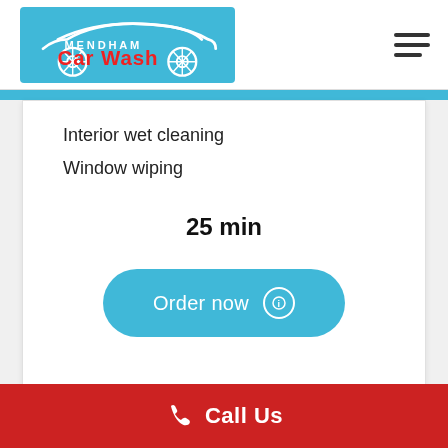[Figure (logo): Mendham Car Wash logo on cyan/blue background with car silhouette and two wheel icons]
Interior wet cleaning
Window wiping
25 min
Order now
Call Us